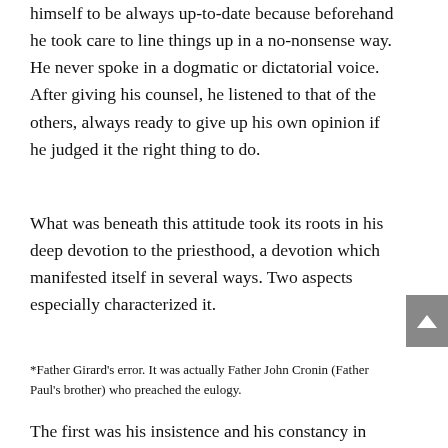himself to be always up-to-date because beforehand he took care to line things up in a no-nonsense way. He never spoke in a dogmatic or dictatorial voice. After giving his counsel, he listened to that of the others, always ready to give up his own opinion if he judged it the right thing to do.
What was beneath this attitude took its roots in his deep devotion to the priesthood, a devotion which manifested itself in several ways. Two aspects especially characterized it.
*Father Girard's error. It was actually Father John Cronin (Father Paul's brother) who preached the eulogy.
The first was his insistence and his constancy in